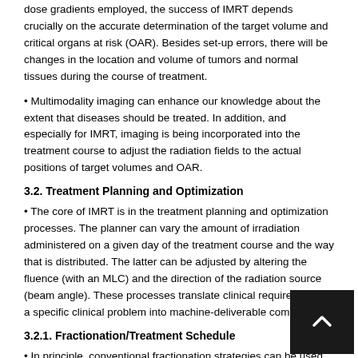dose gradients employed, the success of IMRT depends crucially on the accurate determination of the target volume and critical organs at risk (OAR). Besides set-up errors, there will be changes in the location and volume of tumors and normal tissues during the course of treatment.
• Multimodality imaging can enhance our knowledge about the extent that diseases should be treated. In addition, and especially for IMRT, imaging is being incorporated into the treatment course to adjust the radiation fields to the actual positions of target volumes and OAR.
3.2. Treatment Planning and Optimization
• The core of IMRT is in the treatment planning and optimization processes. The planner can vary the amount of irradiation administered on a given day of the treatment course and the way that is distributed. The latter can be adjusted by altering the fluence (with an MLC) and the direction of the radiation source (beam angle). These processes translate clinical requirements of a specific clinical problem into machine-deliverable commands.
3.2.1. Fractionation/Treatment Schedule
• In principle, conventional fractionation strategies can be used to design IMRT plans as well. For example, with a strategy similar to the